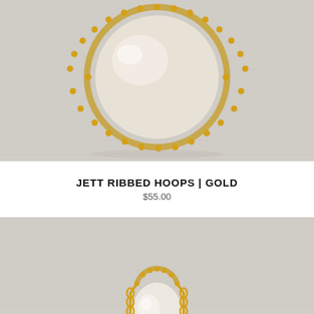[Figure (photo): Close-up product photo of a single gold ribbed hoop earring with a large oval pearl/white stone set inside the half-moon beaded gold frame, photographed on a light grey linen fabric background.]
JETT RIBBED HOOPS | GOLD
$55.00
[Figure (photo): Second product photo showing the Jett Ribbed Hoops in gold from a different angle — the earring is displayed hanging open, showing the gold beaded ribbed frame and large oval white/cream stone, on a light grey linen fabric background.]